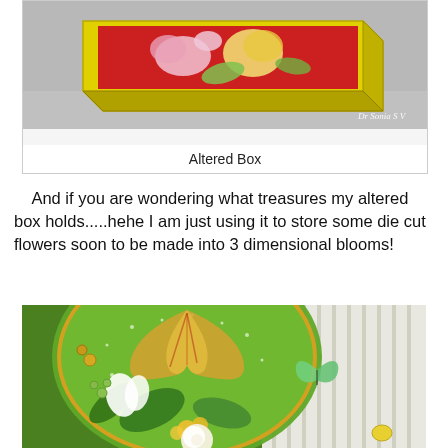[Figure (photo): Photo of a yellow altered box with red interior containing die-cut paper flowers in pink, yellow, and green. Watermark reads 'Dr Sonia S V'.]
Altered Box
And if you are wondering what treasures my altered box holds.....hehe I am just using it to store some die cut flowers soon to be made into 3 dimensional blooms!
[Figure (photo): Photo of a decorative craft piece featuring a green circular background with a ginkgo leaf, white flowers, yellow mimosa-like flowers, a butterfly, and various embellishments on a mixed green and white background.]